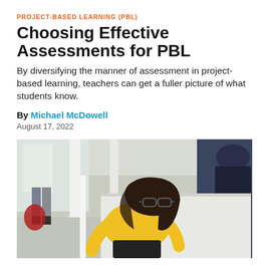PROJECT-BASED LEARNING (PBL)
Choosing Effective Assessments for PBL
By diversifying the manner of assessment in project-based learning, teachers can get a fuller picture of what students know.
By Michael McDowell
August 17, 2022
[Figure (photo): A girl with glasses wearing a yellow long-sleeve shirt leans forward intently over a white surface or board, viewed from above/side in a classroom setting. Other students and classroom elements are visible in the background.]